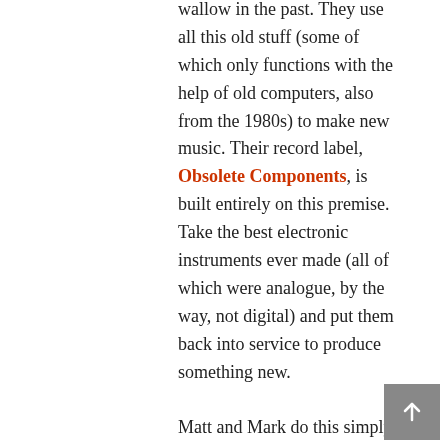wallow in the past. They use all this old stuff (some of which only functions with the help of old computers, also from the 1980s) to make new music. Their record label, Obsolete Components, is built entirely on this premise. Take the best electronic instruments ever made (all of which were analogue, by the way, not digital) and put them back into service to produce something new.
Matt and Mark do this simply because they're passionate about these machines and the sounds they can make with them. Yes, they use modern equipment too. Most of what they produce is ultimately recorded to an iMac with a recent copy of ProTools on it. But the sounds themselves originate from old machines.
One of the most surprising things about all this is just how unique an old Jupiter 8 synthesizer can be. As Mark says, many of these machines were handmade, and they all use analogue signals, so no two sound exactly alike. People talk like this about old violins – how the handmade nature of them means each one is truly unique. But it's also